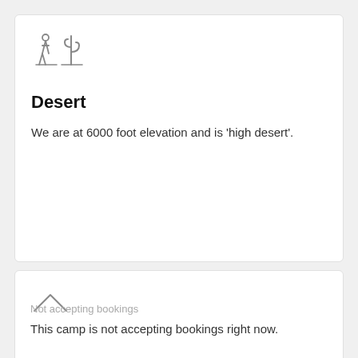[Figure (illustration): Desert icon showing a person and a cactus silhouette in grey outline style]
Desert
We are at 6000 foot elevation and is 'high desert'.
[Figure (illustration): Mountain/tent icon in grey outline style]
Not accepting bookings
This camp is not accepting bookings right now.